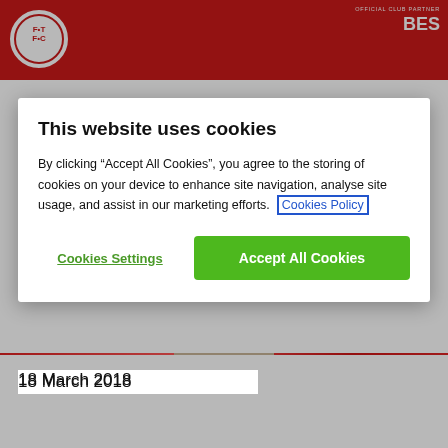[Figure (screenshot): Red sports club website header with club logo on left and OFFICIAL CLUB PARTNER / BES text on right]
This website uses cookies
By clicking “Accept All Cookies”, you agree to the storing of cookies on your device to enhance site navigation, analyse site usage, and assist in our marketing efforts.  Cookies Policy
Cookies Settings
Accept All Cookies
18 March 2018
[Figure (photo): Close-up photo of a middle-aged man with grey hair against a red blurred background]